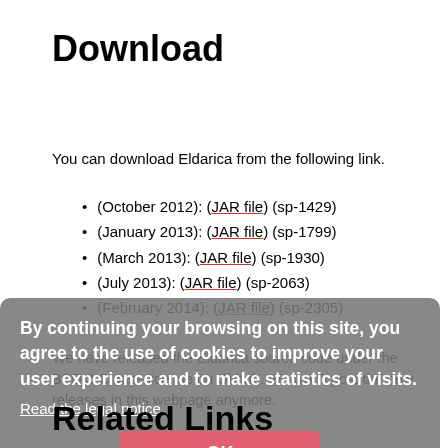Download
You can download Eldarica from the following link.
(October 2012): (JAR file) (sp-1429)
(January 2013): (JAR file) (sp-1799)
(March 2013): (JAR file) (sp-1930)
(July 2013): (JAR file) (sp-2063)
(February 2014): (JAR file) (sp-2305)
We have released the Eldarica source code under the BSD 3-Clause license on Github. We won't post the new releases in this webpage anymore.
By continuing your browsing on this site, you agree to the use of cookies to improve your user experience and to make statistics of visits.
Read the legal notice
Related Links